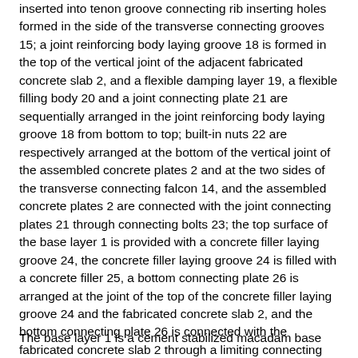inserted into tenon groove connecting rib inserting holes formed in the side of the transverse connecting grooves 15; a joint reinforcing body laying groove 18 is formed in the top of the vertical joint of the adjacent fabricated concrete slab 2, and a flexible damping layer 19, a flexible filling body 20 and a joint connecting plate 21 are sequentially arranged in the joint reinforcing body laying groove 18 from bottom to top; built-in nuts 22 are respectively arranged at the bottom of the vertical joint of the assembled concrete plates 2 and at the two sides of the transverse connecting falcon 14, and the assembled concrete plates 2 are connected with the joint connecting plates 21 through connecting bolts 23; the top surface of the base layer 1 is provided with a concrete filler laying groove 24, the concrete filler laying groove 24 is filled with a concrete filler 25, a bottom connecting plate 26 is arranged at the joint of the top of the concrete filler laying groove 24 and the fabricated concrete slab 2, and the bottom connecting plate 26 is connected with the fabricated concrete slab 2 through a limiting connecting rib 27.
The base layer 1 is a cement stabilized macadam base